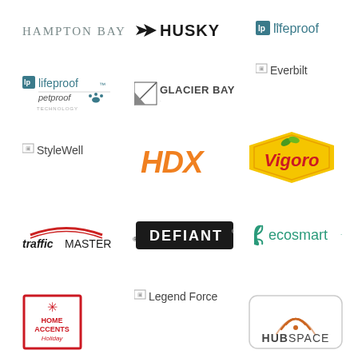[Figure (logo): Hampton Bay logo - grey uppercase text]
[Figure (logo): Husky logo - black uppercase text with arrow icon]
[Figure (logo): LifeProof logo - teal text with lp icon]
[Figure (logo): LifeProof PetProof logo]
[Figure (logo): Glacier Bay logo with diagonal stripe icon]
[Figure (logo): Everbilt logo - broken image placeholder]
[Figure (logo): StyleWell logo - broken image placeholder]
[Figure (logo): HDX logo - orange bold text]
[Figure (logo): Vigoro logo - red text in yellow hexagon shape]
[Figure (logo): TrafficMaster logo]
[Figure (logo): Defiant logo - white text on black rounded rectangle]
[Figure (logo): EcoSmart logo - teal text with leaf icon]
[Figure (logo): Legend Force logo - broken image placeholder]
[Figure (logo): Home Accents Holiday logo - red box with snowflake]
[Figure (logo): HubSpace logo - rounded rectangle with wifi arc icon]